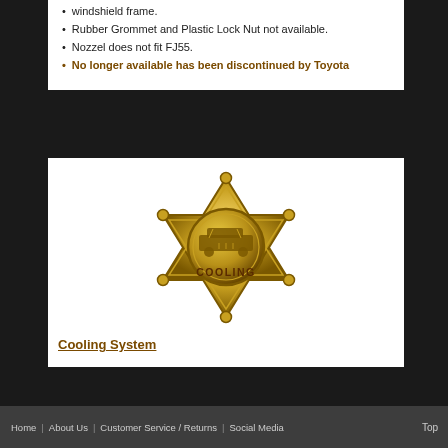windshield frame.
Rubber Grommet and Plastic Lock Nut not available.
Nozzel does not fit FJ55.
No longer available has been discontinued by Toyota
[Figure (illustration): Gold six-pointed star badge with a vintage Land Cruiser vehicle engraved in the center circle and the word COOLING inscribed below it]
Cooling System
Home | About Us | Customer Service / Returns | Social Media   Top